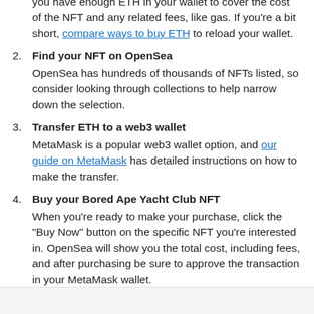you have enough ETH in your wallet to cover the cost of the NFT and any related fees, like gas. If you're a bit short, compare ways to buy ETH to reload your wallet.
Find your NFT on OpenSea — OpenSea has hundreds of thousands of NFTs listed, so consider looking through collections to help narrow down the selection.
Transfer ETH to a web3 wallet — MetaMask is a popular web3 wallet option, and our guide on MetaMask has detailed instructions on how to make the transfer.
Buy your Bored Ape Yacht Club NFT — When you're ready to make your purchase, click the "Buy Now" button on the specific NFT you're interested in. OpenSea will show you the total cost, including fees, and after purchasing be sure to approve the transaction in your MetaMask wallet.